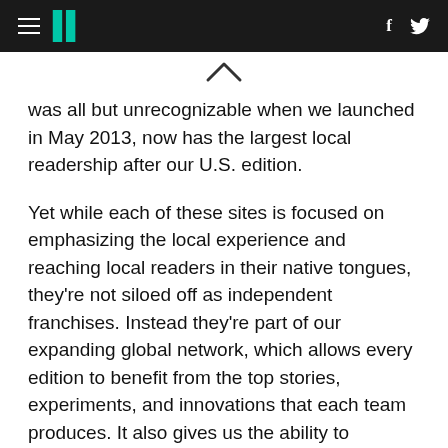HuffPost header with hamburger menu, logo, Facebook and Twitter icons
was all but unrecognizable when we launched in May 2013, now has the largest local readership after our U.S. edition.
Yet while each of these sites is focused on emphasizing the local experience and reaching local readers in their native tongues, they're not siloed off as independent franchises. Instead they're part of our expanding global network, which allows every edition to benefit from the top stories, experiments, and innovations that each team produces. It also gives us the ability to simultaneously amplify the best of what we do at